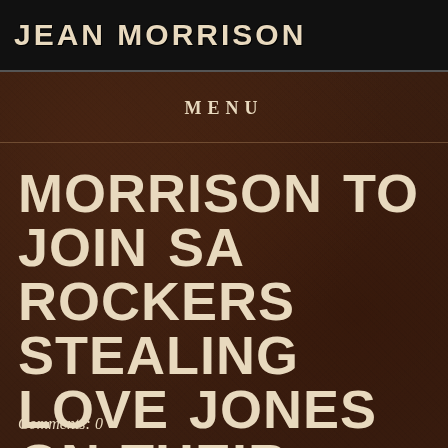JEAN MORRISON
MENU
MORRISON TO JOIN SA ROCKERS STEALING LOVE JONES ON THEIR NATIONWIDE TOUR
Comments: 0